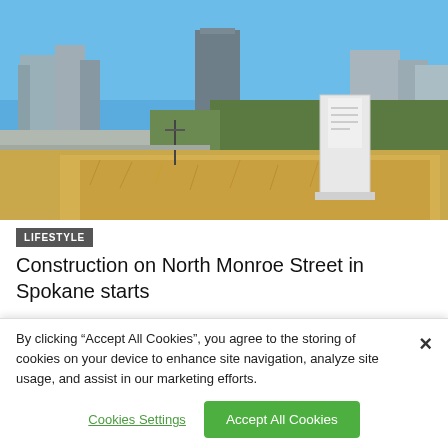[Figure (photo): Outdoor photo of a vacant lot with dry brown grass and a white construction sign/monument in the foreground. A road and urban skyline with buildings visible in the background under a clear blue sky.]
LIFESTYLE
Construction on North Monroe Street in Spokane starts
By clicking “Accept All Cookies”, you agree to the storing of cookies on your device to enhance site navigation, analyze site usage, and assist in our marketing efforts.
Cookies Settings
Accept All Cookies